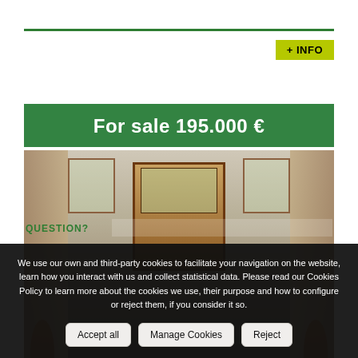+ INFO
[Figure (photo): Interior photo of a building entrance/lobby with marble stairs, wooden railings, glass doors, and tiled walls. Overlaid with a green banner showing 'For sale 195.000 €']
For sale 195.000 €
We use our own and third-party cookies to facilitate your navigation on the website, learn how you interact with us and collect statistical data. Please read our Cookies Policy to learn more about the cookies we use, their purpose and how to configure or reject them, if you consider it so.
Accept all
Manage Cookies
Reject